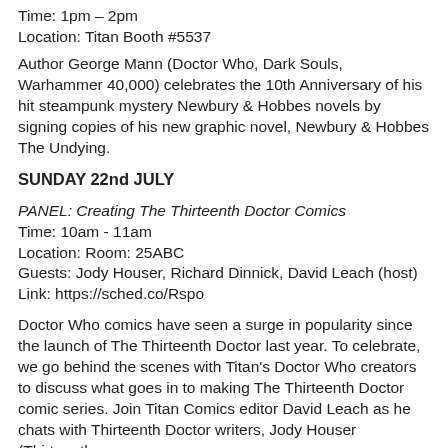Time: 1pm – 2pm
Location: Titan Booth #5537
Author George Mann (Doctor Who, Dark Souls, Warhammer 40,000) celebrates the 10th Anniversary of his hit steampunk mystery Newbury & Hobbes novels by signing copies of his new graphic novel, Newbury & Hobbes The Undying.
SUNDAY 22nd JULY
PANEL: Creating The Thirteenth Doctor Comics
Time: 10am - 11am
Location: Room: 25ABC
Guests: Jody Houser, Richard Dinnick, David Leach (host)
Link: https://sched.co/Rspo
Doctor Who comics have seen a surge in popularity since the launch of The Thirteenth Doctor last year. To celebrate, we go behind the scenes with Titan's Doctor Who creators to discuss what goes in to making The Thirteenth Doctor comic series. Join Titan Comics editor David Leach as he chats with Thirteenth Doctor writers, Jody Houser (Thirteenth